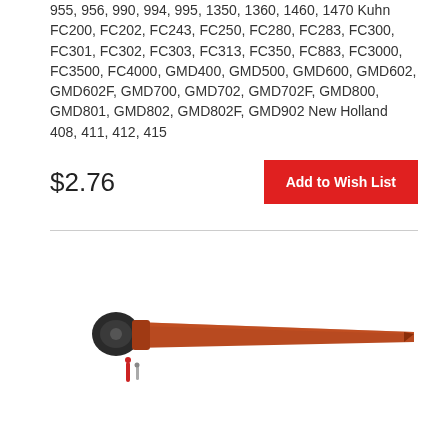955, 956, 990, 994, 995, 1350, 1360, 1460, 1470 Kuhn FC200, FC202, FC243, FC250, FC280, FC283, FC300, FC301, FC302, FC303, FC313, FC350, FC883, FC3000, FC3500, FC4000, GMD400, GMD500, GMD600, GMD602, GMD602F, GMD700, GMD702, GMD702F, GMD800, GMD801, GMD802, GMD802F, GMD902 New Holland 408, 411, 412, 415
$2.76
[Figure (photo): Agricultural mower blade or knife assembly — a long reddish-brown metal arm with a black ball joint on the left end, and small red and silver hardware pins/clips below it.]